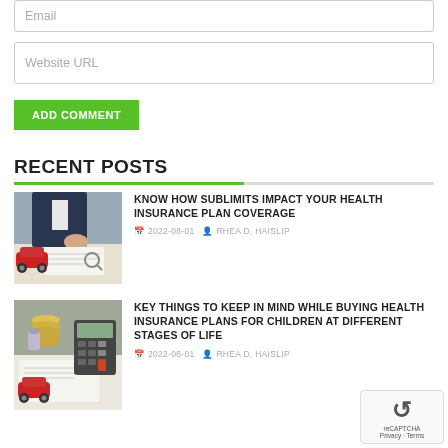Email
Website URL
ADD COMMENT
RECENT POSTS
[Figure (photo): Person in suit writing on paper with toy red car and insurance documents on desk]
KNOW HOW SUBLIMITS IMPACT YOUR HEALTH INSURANCE PLAN COVERAGE
2022-08-01   RHEA D. HAISLIP
[Figure (photo): Calculator with stacked coins and toy red car on insurance documents]
KEY THINGS TO KEEP IN MIND WHILE BUYING HEALTH INSURANCE PLANS FOR CHILDREN AT DIFFERENT STAGES OF LIFE
2022-08-01   RHEA D. HAISLIP